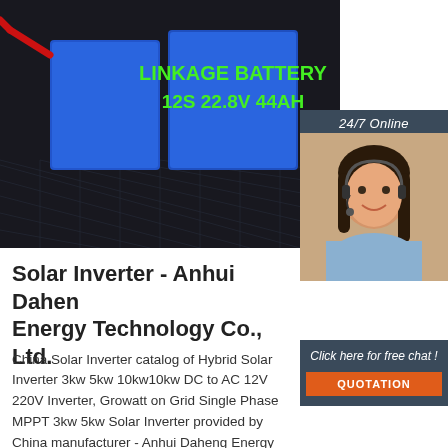[Figure (photo): Product photo of blue rectangular LiFePO4 battery packs labeled LINKAGE BATTERY 12S 22.8V 44AH on dark grid background with red wire connector]
[Figure (photo): 24/7 Online customer service agent — smiling woman wearing headset, overlaid on dark blue-gray panel with 'Click here for free chat!' text and orange QUOTATION button]
Solar Inverter - Anhui Daheng Energy Technology Co., Ltd.
China Solar Inverter catalog of Hybrid Solar Inverter 3kw 5kw 10kw10kw DC to AC 12V 220V Inverter, Growatt on Grid Single Phase MPPT 3kw 5kw Solar Inverter provided by China manufacturer - Anhui Daheng Energy Technology Co., Ltd., page1.